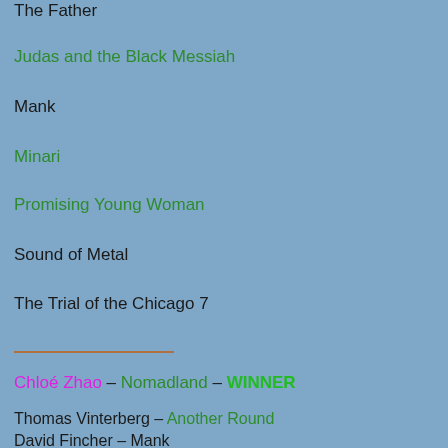The Father
Judas and the Black Messiah
Mank
Minari
Promising Young Woman
Sound of Metal
The Trial of the Chicago 7
Chloé Zhao – Nomadland – WINNER
Thomas Vinterberg – Another Round
David Fincher – Mank